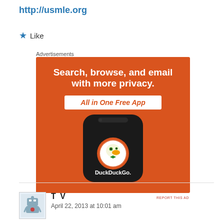http://usmle.org
★ Like
Advertisements
[Figure (illustration): DuckDuckGo advertisement banner on orange background showing a smartphone with the DuckDuckGo logo (duck icon in circle). Text reads: 'Search, browse, and email with more privacy. All in One Free App'. At bottom right: 'REPORT THIS AD'.]
T V
April 22, 2013 at 10:01 am